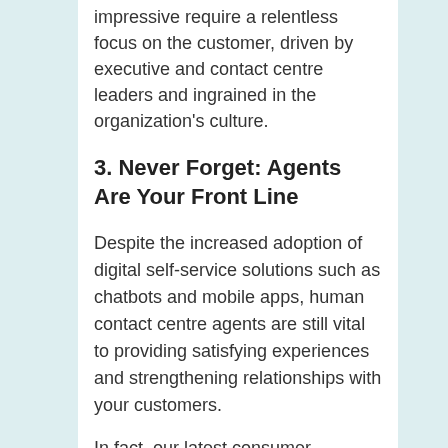impressive require a relentless focus on the customer, driven by executive and contact centre leaders and ingrained in the organization's culture.
3. Never Forget: Agents Are Your Front Line
Despite the increased adoption of digital self-service solutions such as chatbots and mobile apps, human contact centre agents are still vital to providing satisfying experiences and strengthening relationships with your customers.
In fact, our latest consumer research